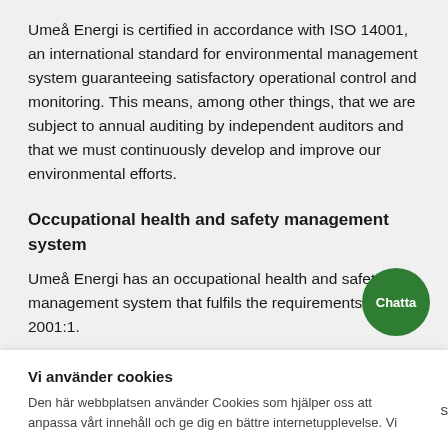Umeå Energi is certified in accordance with ISO 14001, an international standard for environmental management system guaranteeing satisfactory operational control and monitoring. This means, among other things, that we are subject to annual auditing by independent auditors and that we must continuously develop and improve our environmental efforts.
Occupational health and safety management system
Umeå Energi has an occupational health and safety management system that fulfils the requirements of AFS 2001:1.
[Figure (other): Green circular chat button labeled 'Chatta']
Vi använder cookies
Den här webbplatsen använder Cookies som hjälper oss att anpassa vårt innehåll och ge dig en bättre internetupplevelse. Vi